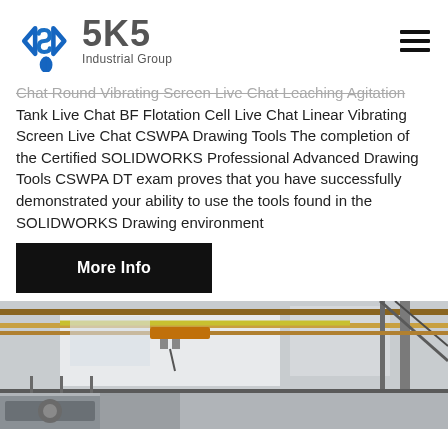[Figure (logo): SKS Industrial Group logo with blue angular bracket symbol and grey SKS text]
Chat Round Vibrating Screen Live Chat Leaching Agitation Tank Live Chat BF Flotation Cell Live Chat Linear Vibrating Screen Live Chat CSWPA Drawing Tools The completion of the Certified SOLIDWORKS Professional Advanced Drawing Tools CSWPA DT exam proves that you have successfully demonstrated your ability to use the tools found in the SOLIDWORKS Drawing environment
More Info
[Figure (photo): Industrial facility interior showing overhead crane, metal structures, and industrial equipment]